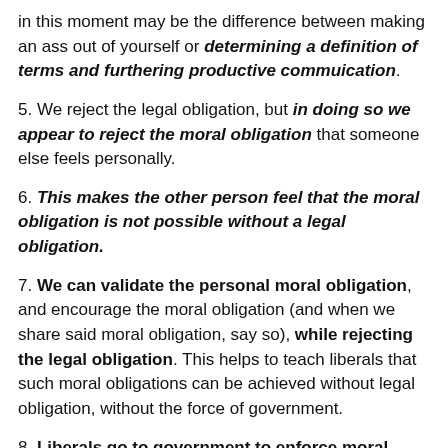in this moment may be the difference between making an ass out of yourself or determining a definition of terms and furthering productive commuication.
5. We reject the legal obligation, but in doing so we appear to reject the moral obligation that someone else feels personally.
6. This makes the other person feel that the moral obligation is not possible without a legal obligation.
7. We can validate the personal moral obligation, and encourage the moral obligation (and when we share said moral obligation, say so), while rejecting the legal obligation. This helps to teach liberals that such moral obligations can be achieved without legal obligation, without the force of government.
8. Liberals go to government to enforce moral obligations through legal obligations because they think the two cannot